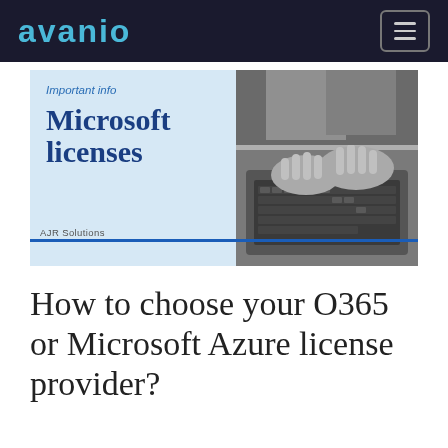avanio
[Figure (infographic): Banner image with light blue left panel showing 'Important info' label, 'Microsoft licenses' in bold dark blue serif font, and 'AJR Solutions' text. Right side shows a grayscale photo of hands typing on a laptop keyboard. A blue horizontal line spans the bottom of the banner.]
How to choose your O365 or Microsoft Azure license provider?